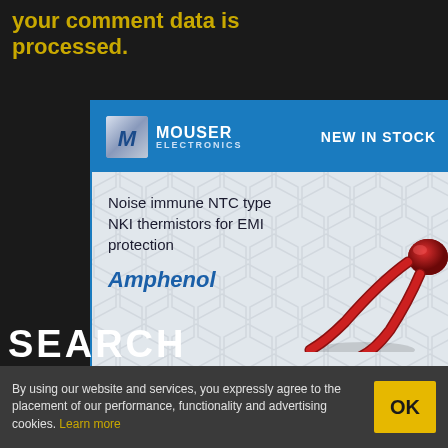your comment data is processed.
[Figure (advertisement): Mouser Electronics advertisement for Amphenol Noise immune NTC type NKI thermistors for EMI protection. Blue header with Mouser Electronics logo and 'NEW IN STOCK' text. White/grey hexagon-pattern background with product image of a red fork-shaped NTC thermistor component.]
SEARCH
By using our website and services, you expressly agree to the placement of our performance, functionality and advertising cookies. Learn more